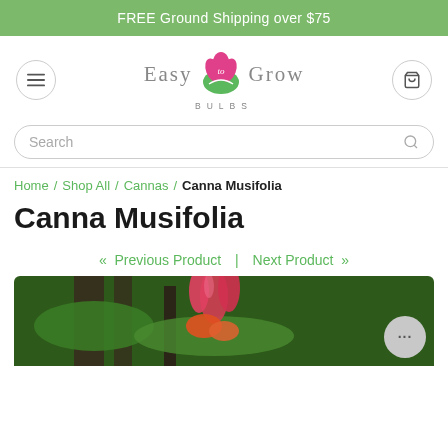FREE Ground Shipping over $75
[Figure (logo): Easy to Grow Bulbs logo with pink tulip flower graphic and green leaf]
Search
Home / Shop All / Cannas / Canna Musifolia
Canna Musifolia
« Previous Product  |  Next Product »
[Figure (photo): Close-up photo of Canna Musifolia plant with red/pink flowers and dark stems with green leaves]